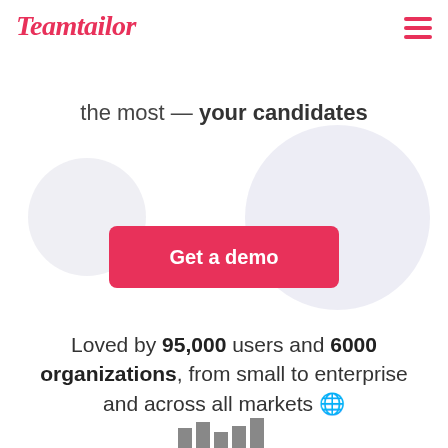Teamtailor
the most — your candidates
[Figure (illustration): Two overlapping decorative circles in light lavender/grey — one smaller on the left, one larger on the right — forming a background behind the CTA button.]
Get a demo
Loved by 95,000 users and 6000 organizations, from small to enterprise and across all markets 🌐